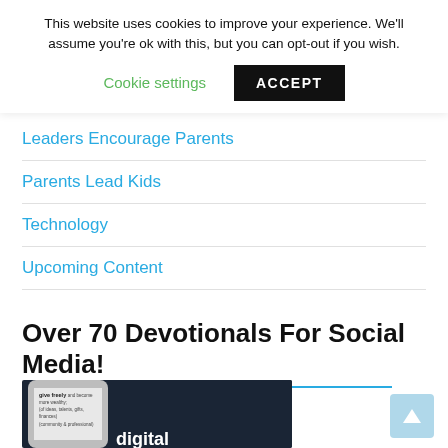This website uses cookies to improve your experience. We'll assume you're ok with this, but you can opt-out if you wish.
Cookie settings   ACCEPT
Leaders Encourage Parents
Parents Lead Kids
Technology
Upcoming Content
Over 70 Devotionals For Social Media!
[Figure (photo): A Samsung smartphone with a white case displaying text 'give freely and become more wealthy; (of ideas, talents, gifts, finances) (community & professional)' on a dark background with the word 'digital' visible.]